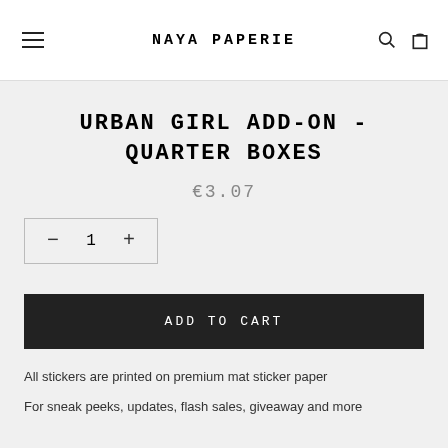NAYA PAPERIE
URBAN GIRL ADD-ON - QUARTER BOXES
€3.07
1
ADD TO CART
All stickers are printed on premium mat sticker paper
For sneak peeks, updates, flash sales, giveaway and more